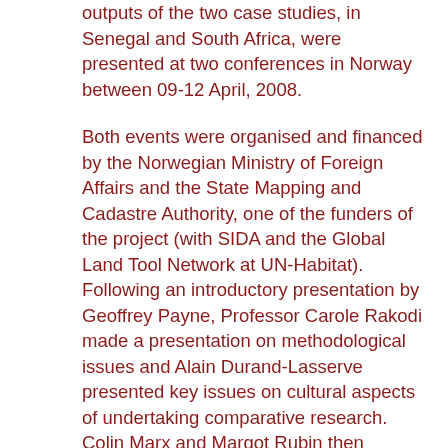outputs of the two case studies, in Senegal and South Africa, were presented at two conferences in Norway between 09-12 April, 2008.
Both events were organised and financed by the Norwegian Ministry of Foreign Affairs and the State Mapping and Cadastre Authority, one of the funders of the project (with SIDA and the Global Land Tool Network at UN-Habitat). Following an introductory presentation by Geoffrey Payne, Professor Carole Rakodi made a presentation on methodological issues and Alain Durand-Lasserve presented key issues on cultural aspects of undertaking comparative research. Colin Marx and Margot Rubin then presented the findings and policy implications of the South African case study and Alain Durand-Lasserve then presented the findings and policy implications of the Senegal case study on behalf of Selle Ndiaye. There was a good discussion of the project findings and implications for the general